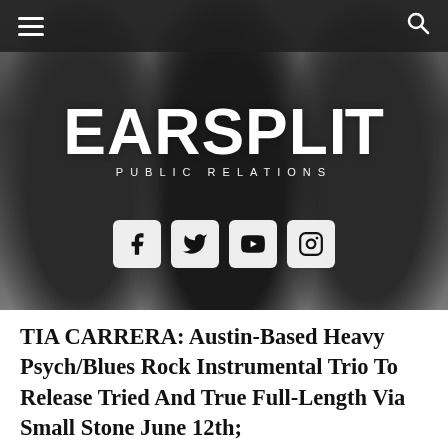[Figure (photo): Black and white photo of three people sitting side by side (torsos/laps visible), with EARSPLIT PUBLIC RELATIONS logo overlaid in white distressed lettering, four social media icons (Facebook, Twitter, YouTube, Instagram) displayed below the logo, and a dark navigation bar at the top with hamburger menu on left and search icon on right.]
TIA CARRERA: Austin-Based Heavy Psych/Blues Rock Instrumental Trio To Release Tried And True Full-Length Via Small Stone June 12th;